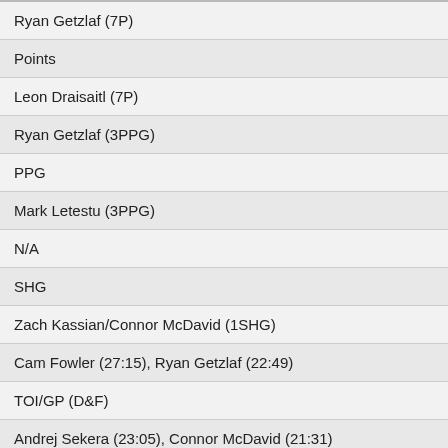| Ryan Getzlaf (7P) |
| Points |
| Leon Draisaitl (7P) |
| Ryan Getzlaf (3PPG) |
| PPG |
| Mark Letestu (3PPG) |
| N/A |
| SHG |
| Zach Kassian/Connor McDavid (1SHG) |
| Cam Fowler (27:15), Ryan Getzlaf (22:49) |
| TOI/GP (D&F) |
| Andrej Sekera (23:05), Connor McDavid (21:31) |
| Antoine Vermette (60.5), Josh Manson (59.2) |